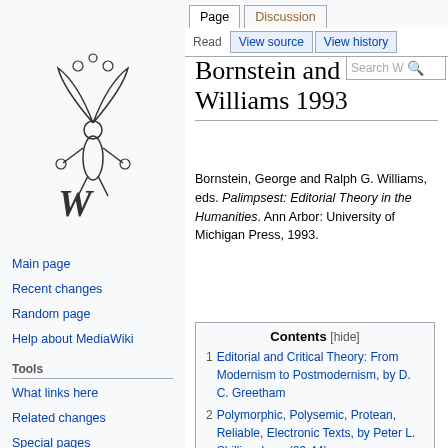Log in
[Figure (illustration): Wikipedia logo - stylized fairy/plant figure with the letter W]
Main page
Recent changes
Random page
Help about MediaWiki
Tools
What links here
Related changes
Special pages
Printable version
Permanent link
Page information
Bornstein and Williams 1993
Bornstein, George and Ralph G. Williams, eds. Palimpsest: Editorial Theory in the Humanities. Ann Arbor: University of Michigan Press, 1993.
Contents [hide]
1 Editorial and Critical Theory: From Modernism to Postmodernism, by D. C. Greetham
2 Polymorphic, Polysemic, Protean, Reliable, Electronic Texts, by Peter L. Shillingsburg (29-44)